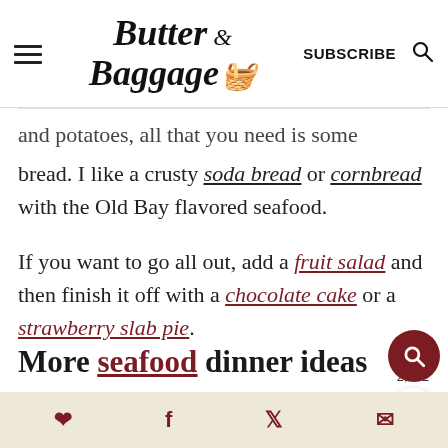Butter & Baggage — SUBSCRIBE
and potatoes, all that you need is some bread. I like a crusty soda bread or cornbread with the Old Bay flavored seafood.
If you want to go all out, add a fruit salad and then finish it off with a chocolate cake or a strawberry slab pie.
More seafood dinner ideas